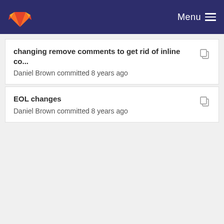Menu
changing remove comments to get rid of inline co...
Daniel Brown committed 8 years ago
EOL changes
Daniel Brown committed 8 years ago